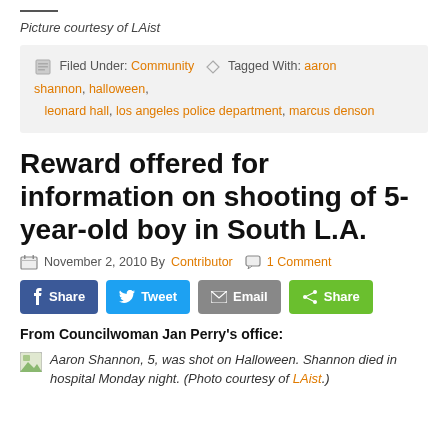Picture courtesy of LAist
Filed Under: Community  Tagged With: aaron shannon, halloween, leonard hall, los angeles police department, marcus denson
Reward offered for information on shooting of 5-year-old boy in South L.A.
November 2, 2010 By Contributor  1 Comment
Share  Tweet  Email  Share
From Councilwoman Jan Perry's office:
Aaron Shannon, 5, was shot on Halloween. Shannon died in hospital Monday night. (Photo courtesy of LAist.)